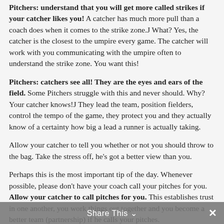Pitchers: understand that you will get more called strikes if your catcher likes you! A catcher has much more pull than a coach does when it comes to the strike zone.J What? Yes, the catcher is the closest to the umpire every game. The catcher will work with you communicating with the umpire often to understand the strike zone. You want this!
Pitchers: catchers see all! They are the eyes and ears of the field. Some Pitchers struggle with this and never should. Why? Your catcher knows!J They lead the team, position fielders, control the tempo of the game, they protect you and they actually know of a certainty how big a lead a runner is actually taking.
Allow your catcher to tell you whether or not you should throw to the bag. Take the stress off, he's got a better view than you.
Perhaps this is the most important tip of the day. Whenever possible, please don't have your coach call your pitches for you. Allow your catcher to call pitches for you. This establishes trust in one another, you work things out together and you become a better team (partnership) if he calls your pitches.
Wouldn't you agree anyway that the catcher has a better view of the hitter than the coach? In addition, catchers have more experience than most coaches and in reality there is more riding
Share This